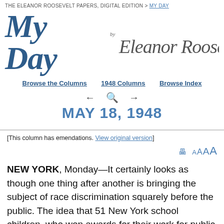The Eleanor Roosevelt Papers, Digital Edition > My Day
My Day by Eleanor Roosevelt
Browse the Columns | 1948 Columns | Browse Index
MAY 18, 1948
[This column has emendations. View original version]
NEW YORK, Monday—It certainly looks as though one thing after another is bringing the subject of race discrimination squarely before the public. The idea that 51 New York school children, who won awards for their work for public safety, could not be taken on a trip to Washington, D.C., because of